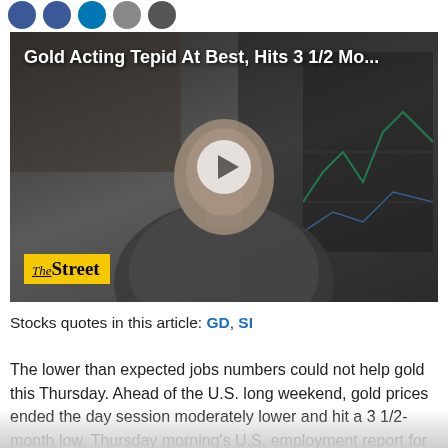[Figure (screenshot): Social media sharing icons row: blue Facebook, dark blue Twitter/social, blue LinkedIn, grey icon, dark grey icon]
[Figure (screenshot): Video thumbnail showing a man in a patterned shirt in an office/studio setting with stock charts visible in the background. Title overlay reads 'Gold Acting Tepid At Best, Hits 3 1/2 Mo...' TheStreet logo badge in bottom left corner. Play button in center.]
Stocks quotes in this article: GD, SI
The lower than expected jobs numbers could not help gold this Thursday. Ahead of the U.S. long weekend, gold prices ended the day session moderately lower and hit a 3 1/2-month low. Thursday morning's U.S. employment report for June saw the key non-farm payrolls number up just